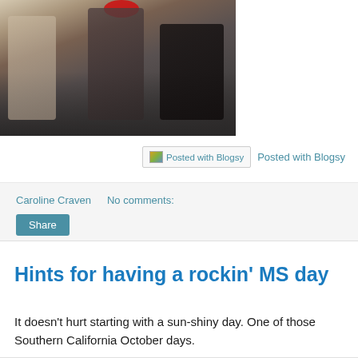[Figure (photo): Partial photo of people at an outdoor event, cropped at top showing torsos and faces, with a red circle overlay near top center]
Posted with Blogsy   Posted with Blogsy
Caroline Craven    No comments:
Share
Hints for having a rockin' MS day
It doesn't hurt starting with a sun-shiny day. One of those Southern California October days.